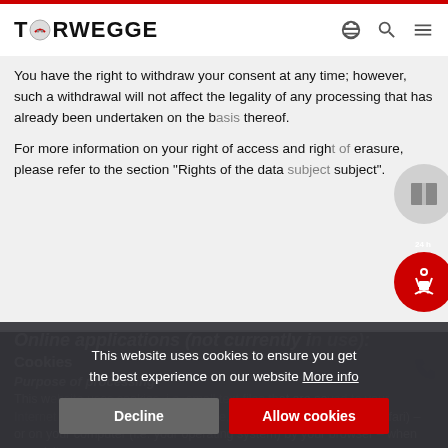TORWEGGE
You have the right to withdraw your consent at any time; however, such a withdrawal will not affect the legality of any processing that has already been undertaken on the basis thereof.
For more information on your right of access and right of erasure, please refer to the section "Rights of the data subject".
Online applications (not currently in use): Cookies
Purpose of processing
This website uses cookies to ensure you get the best experience on our website More info
This [website] uses cookies, i.e. small text files that are saved to your Internet browser (e.g. Firefox, Chrome, Microsoft Explorer/Edge, Safari) – or on your computer (i.e. your operating system) by your browser – when you visit our